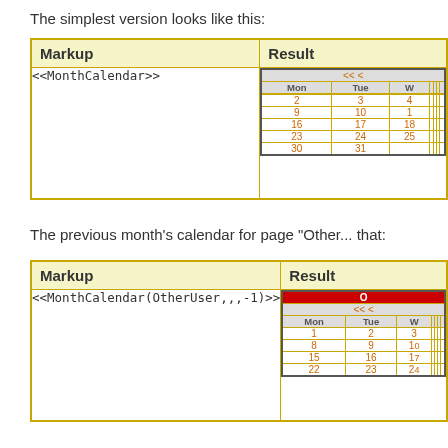The simplest version looks like this:
| Markup | Result |
| --- | --- |
| <<MonthCalendar>> | [calendar widget] |
The previous month's calendar for page "Other... that:
| Markup | Result |
| --- | --- |
| <<MonthCalendar(OtherUser,,,-1)>> | [calendar widget] |